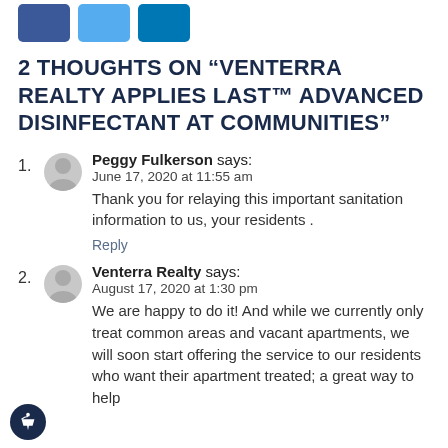[Figure (other): Three social media share buttons: Facebook (blue), Twitter (light blue), LinkedIn (blue)]
2 THOUGHTS ON “VENTERRA REALTY APPLIES LAST™ ADVANCED DISINFECTANT AT COMMUNITIES”
1. Peggy Fulkerson says:
June 17, 2020 at 11:55 am
Thank you for relaying this important sanitation information to us, your residents .
Reply
2. Venterra Realty says:
August 17, 2020 at 1:30 pm
We are happy to do it! And while we currently only treat common areas and vacant apartments, we will soon start offering the service to our residents who want their apartment treated; a great way to help